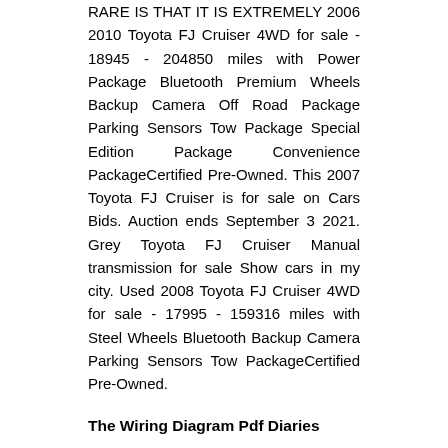RARE IS THAT IT IS EXTREMELY 2006 2010 Toyota FJ Cruiser 4WD for sale - 18945 - 204850 miles with Power Package Bluetooth Premium Wheels Backup Camera Off Road Package Parking Sensors Tow Package Special Edition Package Convenience PackageCertified Pre-Owned. This 2007 Toyota FJ Cruiser is for sale on Cars Bids. Auction ends September 3 2021. Grey Toyota FJ Cruiser Manual transmission for sale Show cars in my city. Used 2008 Toyota FJ Cruiser 4WD for sale - 17995 - 159316 miles with Steel Wheels Bluetooth Backup Camera Parking Sensors Tow PackageCertified Pre-Owned.
The Wiring Diagram Pdf Diaries
The RJ45 connector uncovered on the tip of an Ethernet cable will almost always be exactly the same, no matter the sort of cable you utilize. It can be value noting that shielded RJ45 connectors and